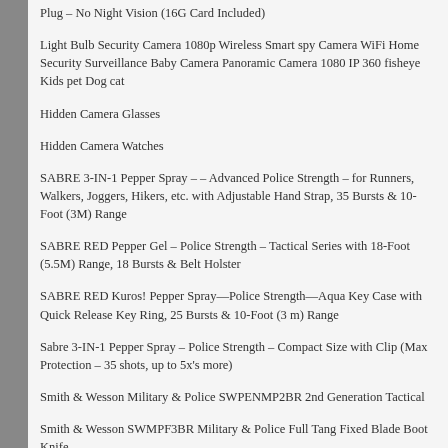Plug – No Night Vision (16G Card Included)
Light Bulb Security Camera 1080p Wireless Smart spy Camera WiFi Home Security Surveillance Baby Camera Panoramic Camera 1080 IP 360 fisheye Kids pet Dog cat
Hidden Camera Glasses
Hidden Camera Watches
SABRE 3-IN-1 Pepper Spray – – Advanced Police Strength – for Runners, Walkers, Joggers, Hikers, etc. with Adjustable Hand Strap, 35 Bursts & 10-Foot (3M) Range
SABRE RED Pepper Gel – Police Strength – Tactical Series with 18-Foot (5.5M) Range, 18 Bursts & Belt Holster
SABRE RED Kuros! Pepper Spray—Police Strength—Aqua Key Case with Quick Release Key Ring, 25 Bursts & 10-Foot (3 m) Range
Sabre 3-IN-1 Pepper Spray – Police Strength – Compact Size with Clip (Max Protection – 35 shots, up to 5x's more)
Smith & Wesson Military & Police SWPENMP2BR 2nd Generation Tactical
Smith & Wesson SWMPF3BR Military & Police Full Tang Fixed Blade Boot Knife
RECENT POSTS